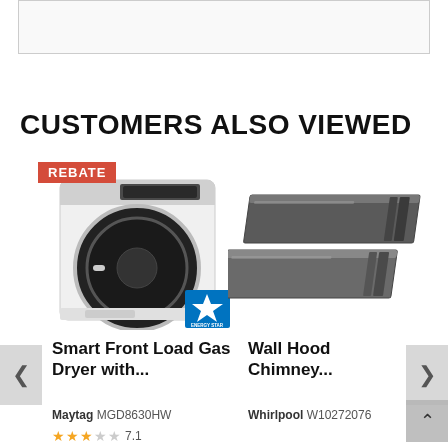[Figure (other): Top banner image placeholder (gray bordered box)]
CUSTOMERS ALSO VIEWED
[Figure (photo): Maytag Smart Front Load Gas Dryer MGD8630HW in white, with REBATE badge and Energy Star logo]
[Figure (photo): Whirlpool Wall Hood Chimney W10272076, two dark metal chimney extension pieces]
Smart Front Load Gas Dryer with...
Wall Hood Chimney...
Maytag MGD8630HW
Whirlpool W10272076
★★★☆☆ 7.1